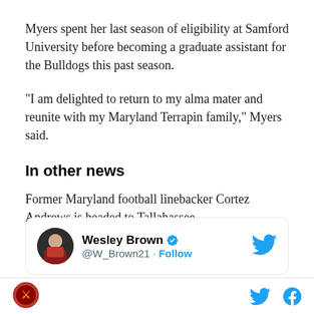Myers spent her last season of eligibility at Samford University before becoming a graduate assistant for the Bulldogs this past season.
“I am delighted to return to my alma mater and reunite with my Maryland Terrapin family,” Myers said.
In other news
Former Maryland football linebacker Cortez Andrews is headed to Tallahassee.
[Figure (screenshot): Embedded tweet from Wesley Brown (@W_Brown21) with Follow button and Twitter bird logo]
Site logo | Twitter icon | Facebook icon